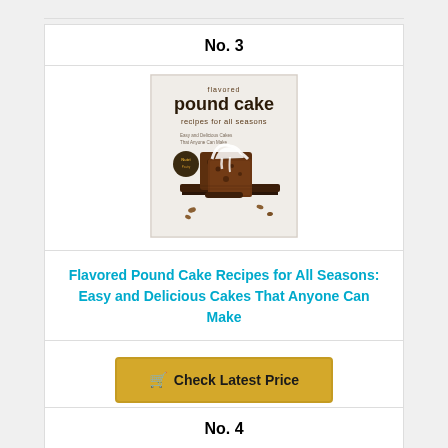No. 3
[Figure (illustration): Book cover for 'Flavored Pound Cake Recipes for All Seasons: Easy and Delicious Cakes That Anyone Can Make' showing a sliced chocolate pound cake with white cream frosting on a wooden cutting board.]
Flavored Pound Cake Recipes for All Seasons: Easy and Delicious Cakes That Anyone Can Make
Check Latest Price
No. 4